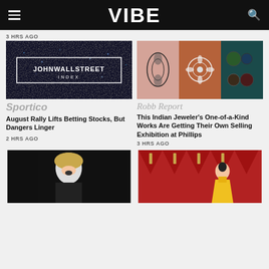VIBE
3 HRS AGO
[Figure (screenshot): Dark background with JOHNWALLSTREET INDEX text in white box]
[Figure (photo): Collage of Indian jewelry pieces on terracotta/brown background]
Sportico
Robb Report
August Rally Lifts Betting Stocks, But Dangers Linger
This Indian Jeweler's One-of-a-Kind Works Are Getting Their Own Selling Exhibition at Phillips
2 HRS AGO
3 HRS AGO
[Figure (photo): Blonde woman laughing, black background, concert conductor]
[Figure (photo): Woman in yellow dress at Oscar awards red carpet]